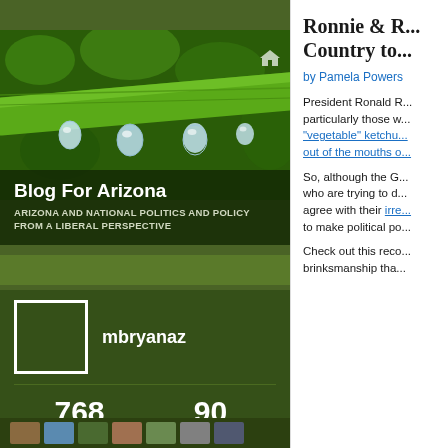[Figure (photo): Macro photograph of green plant stem with water droplets hanging from it against a dark green background]
Blog For Arizona
ARIZONA AND NATIONAL POLITICS AND POLICY FROM A LIBERAL PERSPECTIVE
[Figure (screenshot): Twitter/social media profile card for mbryanaz showing avatar, username, 768 following, 90 followers]
mbryanaz
768 FOLLOWING
90 FOLLOWERS
Ronnie & ... Country to...
by Pamela Powers
President Ronald R... particularly those w... "vegetable" ketchu... out of the mouths o...
So, although the G... who are trying to d... agree with their irr... to make political po...
Check out this reco... brinksmanship tha...